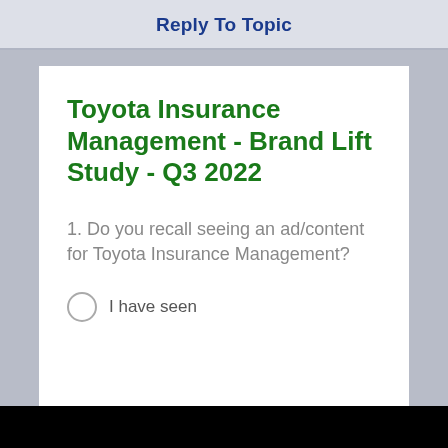Reply To Topic
Toyota Insurance Management - Brand Lift Study - Q3 2022
1. Do you recall seeing an ad/content for Toyota Insurance Management?
I have seen